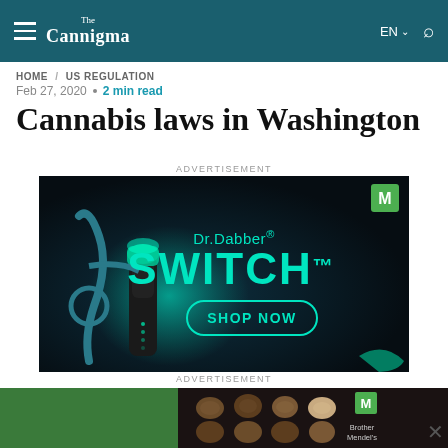The Cannigma | EN | Search
HOME / US REGULATION
Feb 27, 2020 • 2 min read
Cannabis laws in Washington
ADVERTISEMENT
[Figure (photo): Dr.Dabber SWITCH advertisement with dark background showing vaporizer device and teal lighting with 'SHOP NOW' button]
ADVERTISEMENT
[Figure (photo): GoMendel.com cannabis seeds advertisement with green background and seed imagery with Brother Mendel's Selections branding]